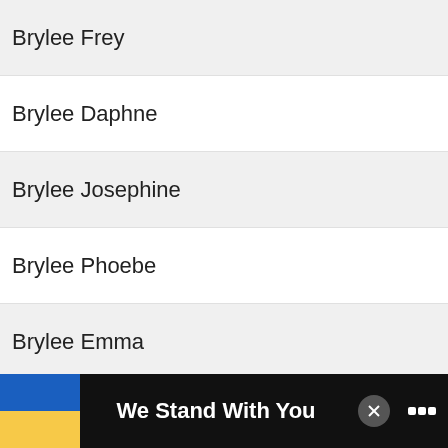Brylee Frey
Brylee Daphne
Brylee Josephine
Brylee Phoebe
Brylee Emma
Brylee Grace
Brylee Eliza
Brylee Felicity
Brylee Arabella
Brylee Beatrice
WHAT'S NEXT → Are baths good or bad...
We Stand With You